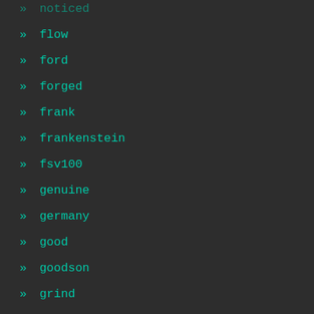» noticed
» flow
» ford
» forged
» frank
» frankenstein
» fsv100
» genuine
» germany
» good
» goodson
» grind
» grinding
» hall
» hand